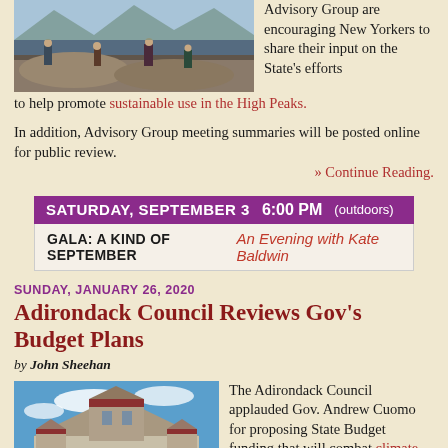[Figure (photo): People hiking on rocky terrain in mountains]
Advisory Group are encouraging New Yorkers to share their input on the State's efforts to help promote sustainable use in the High Peaks.
In addition, Advisory Group meeting summaries will be posted online for public review. » Continue Reading.
[Figure (infographic): Event banner: SATURDAY, SEPTEMBER 3 6:00 PM (outdoors) | GALA: A KIND OF SEPTEMBER An Evening with Kate Baldwin]
SUNDAY, JANUARY 26, 2020
Adirondack Council Reviews Gov's Budget Plans
by John Sheehan
[Figure (photo): New York State Capitol building exterior]
The Adirondack Council applauded Gov. Andrew Cuomo for proposing State Budget funding that will combat climate change, protect clean water and preserve Wilderness, build more resilient trails and make the park more welcoming place for all to visit...